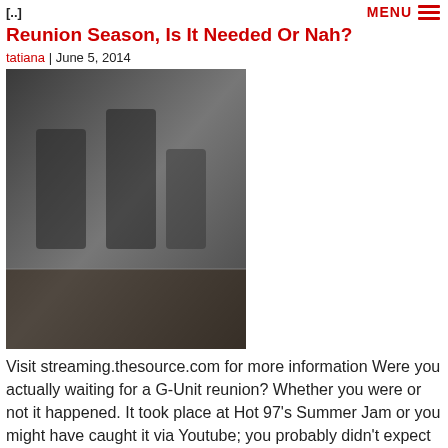[..]
Reunion Season, Is It Needed Or Nah?
tatiana | June 5, 2014
[Figure (photo): Photo of hip-hop artists sitting on a metal structure outdoors]
Visit streaming.thesource.com for more information Were you actually waiting for a G-Unit reunion? Whether you were or not it happened. It took place at Hot 97's Summer Jam or you might have caught it via Youtube; you probably didn't expect Nas' set to end so quick and him bring out 50 Cent. But that wasn't [..]
The 10 Best Dipset Songs Of All-Time
Khari Clarke | May 15, 2014
[Figure (photo): Photo of Dipset group members posing together]